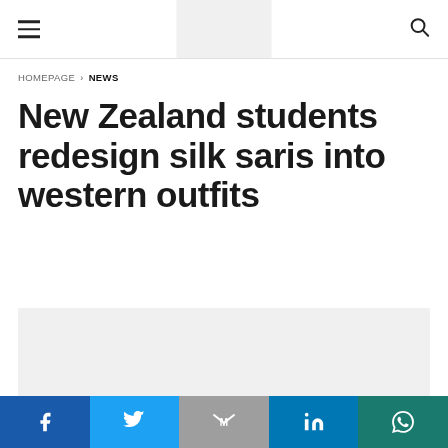Navigation header with hamburger menu, logo placeholder, and search icon
HOMEPAGE > NEWS
New Zealand students redesign silk saris into western outfits
[Figure (photo): Article image placeholder (light gray box)]
Social share bar: Facebook, Twitter, Gmail, LinkedIn, WhatsApp